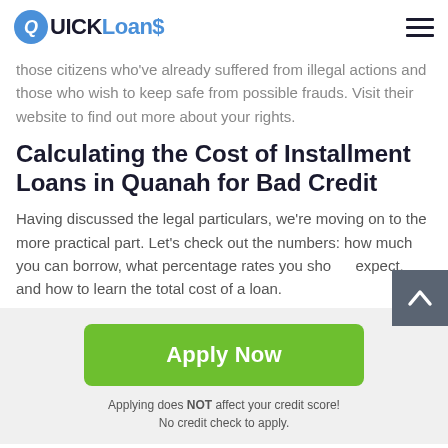QUICK Loans
those citizens who've already suffered from illegal actions and those who wish to keep safe from possible frauds. Visit their website to find out more about your rights.
Calculating the Cost of Installment Loans in Quanah for Bad Credit
Having discussed the legal particulars, we're moving on to the more practical part. Let's check out the numbers: how much you can borrow, what percentage rates you should expect, and how to learn the total cost of a loan.
Apply Now
Applying does NOT affect your credit score!
No credit check to apply.